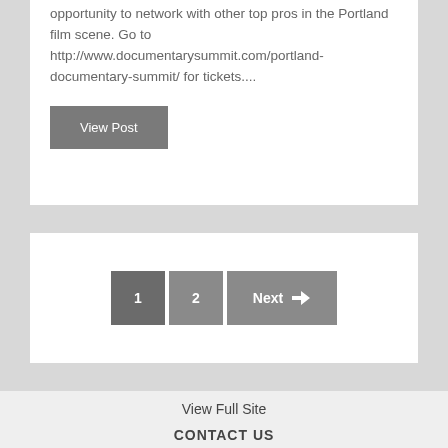opportunity to network with other top pros in the Portland film scene. Go to http://www.documentarysummit.com/portland-documentary-summit/ for tickets....
View Post
1  2  Next →
View Full Site
CONTACT US